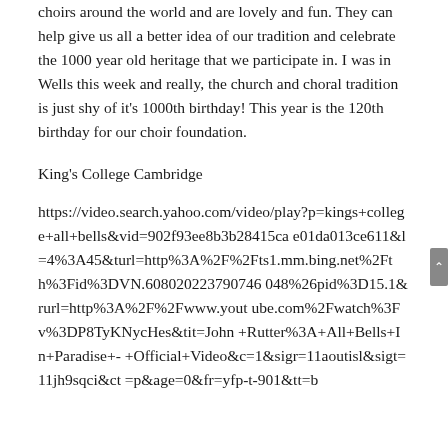choirs around the world and are lovely and fun. They can help give us all a better idea of our tradition and celebrate the 1000 year old heritage that we participate in. I was in Wells this week and really, the church and choral tradition is just shy of it's 1000th birthday! This year is the 120th birthday for our choir foundation.
King's College Cambridge
https://video.search.yahoo.com/video/play?p=kings+college+all+bells&vid=902f93ee8b3b28415cae01da013ce611&l=4%3A45&turl=http%3A%2F%2Fts1.mm.bing.net%2Fth%3Fid%3DVN.608020223790746048%26pid%3D15.1&rurl=http%3A%2F%2Fwww.youtube.com%2Fwatch%3Fv%3DP8TyKNycHes&tit=John+Rutter%3A+All+Bells+In+Paradise+-+Official+Video&c=1&sigr=11aoutisl&sigt=11jh9sqci&ct=p&age=0&fr=yfp-t-901&tt=b